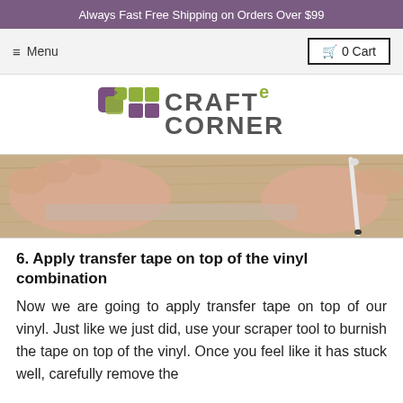Always Fast Free Shipping on Orders Over $99
[Figure (logo): Craft e Corner logo with stylized squares and text]
[Figure (photo): Close-up photo of hands working with vinyl and a scraper tool on a wooden surface]
6. Apply transfer tape on top of the vinyl combination
Now we are going to apply transfer tape on top of our vinyl. Just like we just did, use your scraper tool to burnish the tape on top of the vinyl. Once you feel like it has stuck well, carefully remove the